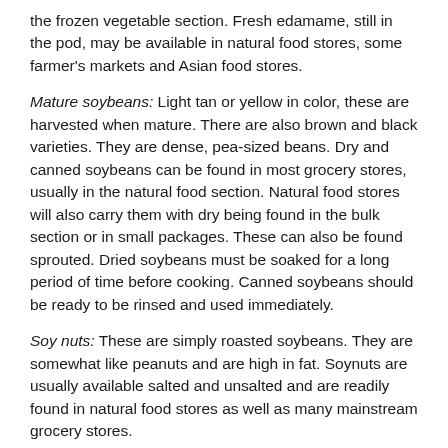the frozen vegetable section. Fresh edamame, still in the pod, may be available in natural food stores, some farmer's markets and Asian food stores.
Mature soybeans: Light tan or yellow in color, these are harvested when mature. There are also brown and black varieties. They are dense, pea-sized beans. Dry and canned soybeans can be found in most grocery stores, usually in the natural food section. Natural food stores will also carry them with dry being found in the bulk section or in small packages. These can also be found sprouted. Dried soybeans must be soaked for a long period of time before cooking. Canned soybeans should be ready to be rinsed and used immediately.
Soy nuts: These are simply roasted soybeans. They are somewhat like peanuts and are high in fat. Soynuts are usually available salted and unsalted and are readily found in natural food stores as well as many mainstream grocery stores.